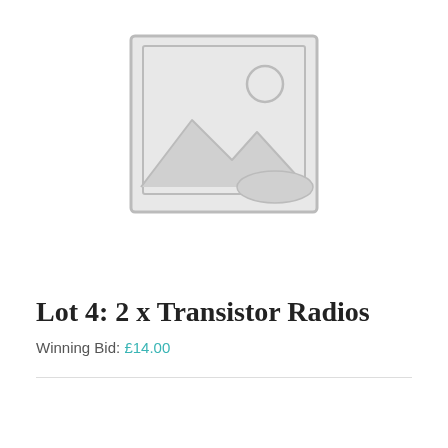[Figure (illustration): Placeholder image icon showing a landscape silhouette with mountains and a sun inside a square frame with rounded sketch-style border, light grey fill]
Lot 4: 2 x Transistor Radios
Winning Bid: £14.00